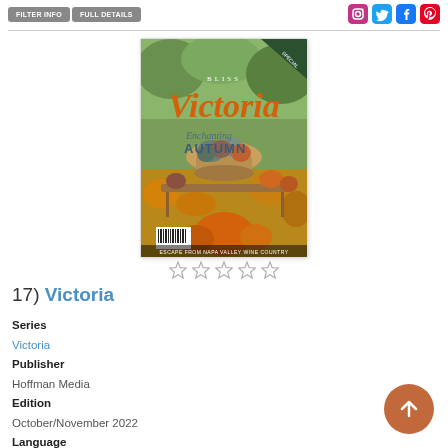FILTER INFO | FULL DETAILS — social icons
[Figure (photo): Magazine cover of Victoria (Bliss) — Enchanting Autumn issue, showing a bowl of pumpkins and gourds surrounded by autumn flowers and produce, with barcode at bottom left]
★★★★★ (empty stars rating)
17) Victoria
Series
Victoria
Publisher
Hoffman Media
Edition
October/November 2022
Language
English